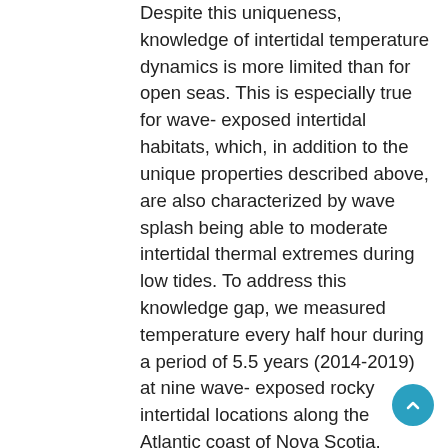Despite this uniqueness, knowledge of intertidal temperature dynamics is more limited than for open seas. This is especially true for wave-exposed intertidal habitats, which, in addition to the unique properties described above, are also characterized by wave splash being able to moderate intertidal thermal extremes during low tides. To address this knowledge gap, we measured temperature every half hour during a period of 5.5 years (2014-2019) at nine wave-exposed rocky intertidal locations along the Atlantic coast of Nova Scotia, Canada. This data set is freely available from the figshare online repository (Scrosati and Ellrich, 2020a; https://doi.org/10.6084/m9.figshare.12462065.v1). We summarize the main properties of this data set by focusing on location-wise values of daily maximum and minimum temperature and daily SST, which we make freely available as a separate data set in figshare (Scrosati et al., 2020; https://doi.org/10.6084/m9.figshare.12453374.v1). Overall, this cold-temperate coast exhibited a wide annual SST range, from a lowest overall